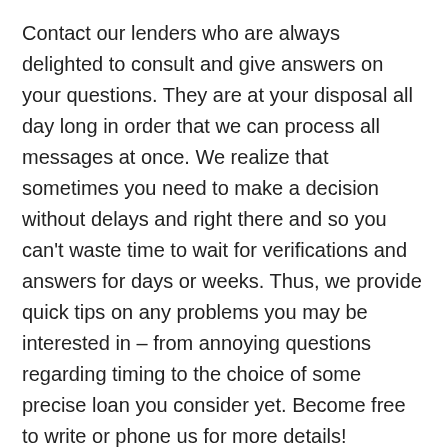Contact our lenders who are always delighted to consult and give answers on your questions. They are at your disposal all day long in order that we can process all messages at once. We realize that sometimes you need to make a decision without delays and right there and so you can't waste time to wait for verifications and answers for days or weeks. Thus, we provide quick tips on any problems you may be interested in – from annoying questions regarding timing to the choice of some precise loan you consider yet. Become free to write or phone us for more details!
What's more, we adhere to a customized way of work; for this reason, we won't ignore your request, not taking into consideration the complexity of your